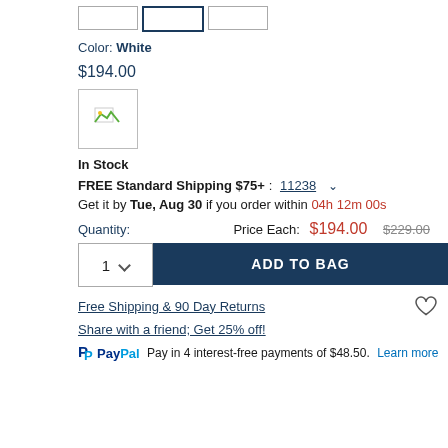[Figure (other): Three size selector boxes at the top of the product page]
Color: White
$194.00
[Figure (photo): Small product thumbnail image with broken image icon]
In Stock
FREE Standard Shipping $75+: 11238 ∨
Get it by Tue, Aug 30 if you order within 04h 12m 00s
Quantity:
Price Each: $194.00 $229.00
1  ADD TO BAG
Free Shipping & 90 Day Returns
Share with a friend; Get 25% off!
PayPal Pay in 4 interest-free payments of $48.50. Learn more